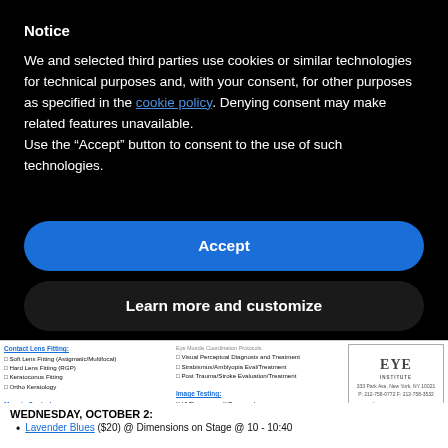Notice
We and selected third parties use cookies or similar technologies for technical purposes and, with your consent, for other purposes as specified in the cookie policy. Denying consent may make related features unavailable.
Use the “Accept” button to consent to the use of such technologies.
Accept
Learn more and customize
[Figure (screenshot): Partial medical institute advertisement showing services including Contact Lens Fitting, Myopia Control, Image Testing, and Eye Muscle Coordination services. Includes GT Eye Institute logo with address details: 333 Park Ave New York NY 10021, 1457 86th Street Brooklyn NY 11228.]
WEDNESDAY, OCTOBER 2:
Lavender Blues ($20) @ Dimensions on Stage @ 10 - 10:40